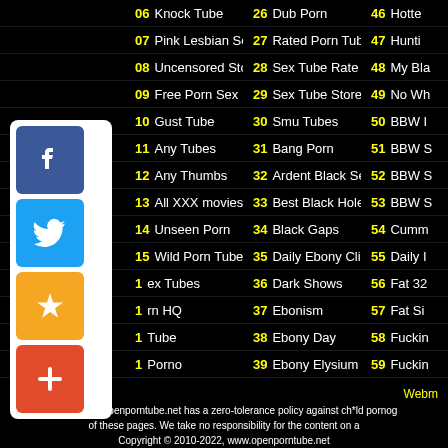06 Knock Tube | 26 Dub Porn | 46 Hottest...
07 Pink Lesbian Sex | 27 Rated Porn Tube | 47 Hunti...
08 Uncensored Store | 28 Sex Tube Rate | 48 My Bla...
09 Free Porn Sex | 29 Sex Tube Store | 49 No Wh...
10 Gust Tube | 30 Smu Tubes | 50 BBW ...
11 Any Tubes | 31 Bang Porn | 51 BBW S...
12 Any Thumbs | 32 Ardent Black Sex | 52 BBW S...
13 All XXX movies | 33 Best Black Holes | 53 BBW S...
14 Unseen Porn | 34 Black Gaps | 54 Cumm...
15 Wild Porn Tubes | 35 Daily Ebony Clips | 55 Daily ...
1_ _ex Tubes | 36 Dark Shows | 56 Fat 32...
1_ _rn HQ | 37 Ebonism | 57 Fat Si...
1_ _Tube | 38 Ebony Day | 58 Fuckin...
1_ _ Porno | 39 Ebony Elysium | 59 Fuckin...
2_ _rivers | 40 Ebony Fiction | 60 Fuckin...
[Figure (screenshot): Social media sharing widget with Facebook, Twitter, Bookmark star, and Google Plus icons on white rounded rectangle background]
Webm...
Disclaimer: openporntube.net has a zero-tolerance policy against ch*ld pornog... of these pages. We take no responsibility for the content on a... Copyright © 2010-2022, www.openporntube.net